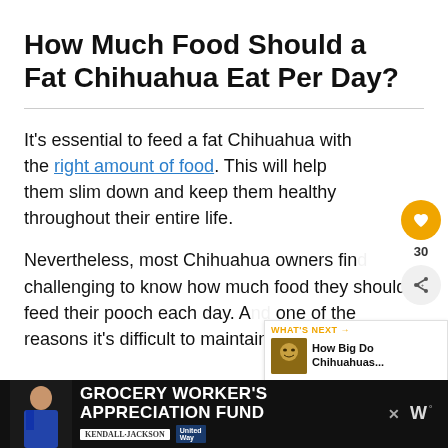How Much Food Should a Fat Chihuahua Eat Per Day?
It's essential to feed a fat Chihuahua with the right amount of food. This will help them slim down and keep them healthy throughout their entire life.
Nevertheless, most Chihuahua owners find challenging to know how much food they should feed their pooch each day. And one of the reasons it's difficult to maintain a healthy diet is...
[Figure (screenshot): Social sidebar with heart/like button showing 30 and share button]
[Figure (screenshot): What's Next widget showing 'How Big Do Chihuahuas...' with thumbnail]
[Figure (screenshot): Ad banner: Grocery Worker's Appreciation Fund with Kendall-Jackson and United Way logos]